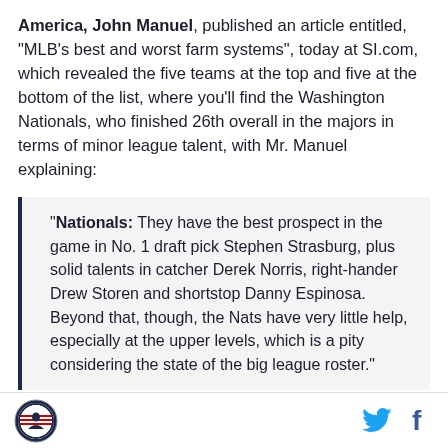America, John Manuel, published an article entitled, "MLB's best and worst farm systems", today at SI.com, which revealed the five teams at the top and five at the bottom of the list, where you'll find the Washington Nationals, who finished 26th overall in the majors in terms of minor league talent, with Mr. Manuel explaining:
"Nationals: They have the best prospect in the game in No. 1 draft pick Stephen Strasburg, plus solid talents in catcher Derek Norris, right-hander Drew Storen and shortstop Danny Espinosa. Beyond that, though, the Nats have very little help, especially at the upper levels, which is a pity considering the state of the big league roster."